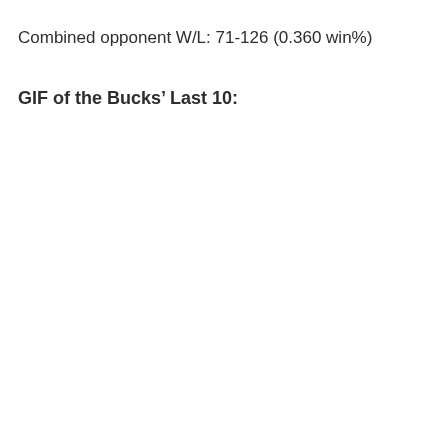Combined opponent W/L: 71-126 (0.360 win%)
GIF of the Bucks' Last 10: